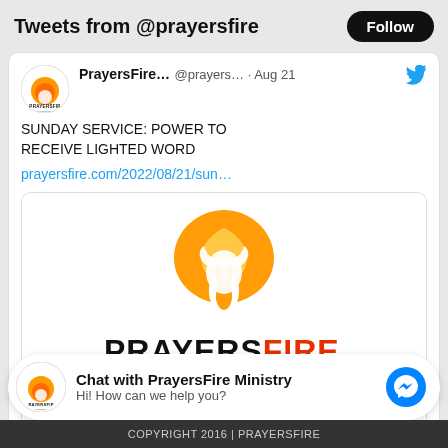Tweets from @prayersfire
PrayersFire... @prayers... · Aug 21
SUNDAY SERVICE: POWER TO RECEIVE LIGHTED WORD
prayersfire.com/2022/08/21/sun...
[Figure (logo): PrayersFire logo: flame dove in circle with PRAYERSFIRE wordmark, black and red text]
prayersfire.com
SUNDAY SERVICE: POWER TO RECEIVE LIGHTED WORD | ...
Chat with PrayersFire Ministry
Hi! How can we help you?
COPYRIGHT 2016 | PRAYERSFIRE